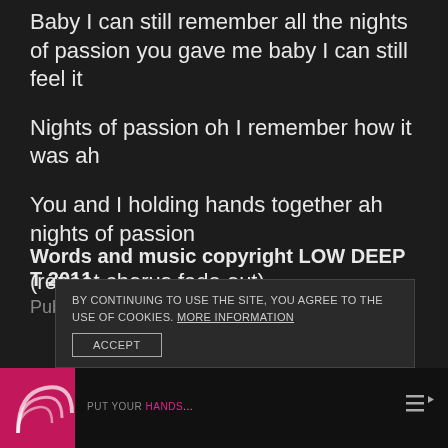Baby I can still remember all the nights of passion you gave me baby I can still feel it
Nights of passion oh I remember how it was ah
You and I holding hands together ah nights of passion
(repeat chorus fade out)
Words and music copyright LOW DEEP T 2011
Published by Cut & Play Music 2011
BY CONTINUING TO USE THE SITE, YOU AGREE TO THE USE OF COOKIES. MORE INFORMATION
ACCEPT
PUT YOUR HANDS...